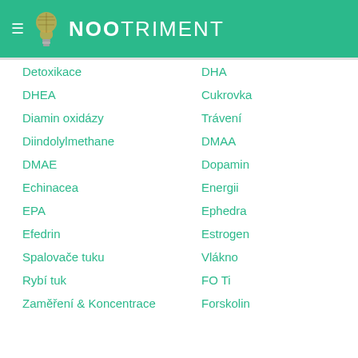NOOTRIMENT
Detoxikace
DHA
DHEA
Cukrovka
Diamin oxidázy
Trávení
Diindolylmethane
DMAA
DMAE
Dopamin
Echinacea
Energii
EPA
Ephedra
Efedrin
Estrogen
Spalovače tuku
Vlákno
Rybí tuk
FO Ti
Zaměření & Koncentrace
Forskolin